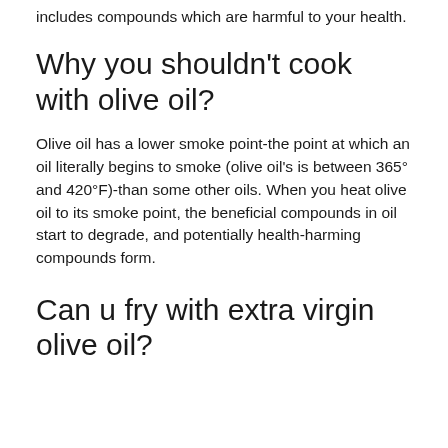includes compounds which are harmful to your health.
Why you shouldn't cook with olive oil?
Olive oil has a lower smoke point-the point at which an oil literally begins to smoke (olive oil's is between 365° and 420°F)-than some other oils. When you heat olive oil to its smoke point, the beneficial compounds in oil start to degrade, and potentially health-harming compounds form.
Can u fry with extra virgin olive oil?